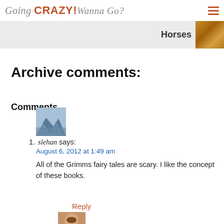Going CRAZY! Wanna Go?
[Figure (illustration): Banner strip with text 'Horses' and a brownish horse image on the right]
Archive comments:
Comments
[Figure (photo): Avatar image showing snowy mountains with water]
slehan says:
August 6, 2012 at 1:49 am
All of the Grimms fairy tales are scary. I like the concept of these books.
Reply
[Figure (photo): Avatar image of a woman with brown hair]